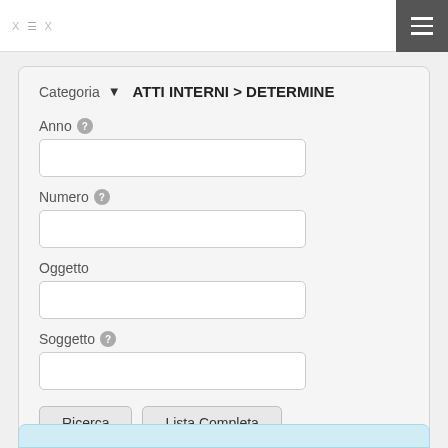≡
Categoria ▼   ATTI INTERNI > DETERMINE
Anno ?
Numero ?
Oggetto
Soggetto ?
Ricerca   Lista Completa